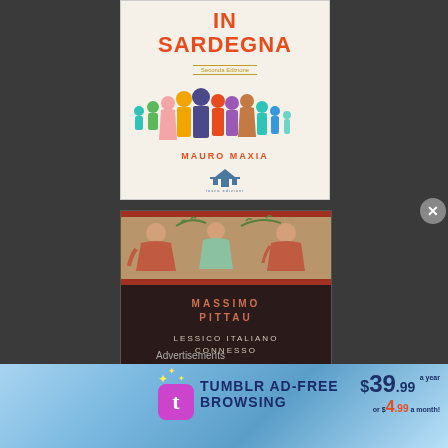[Figure (illustration): Book cover: 'IN SARDEGNA' (Seconda Edizione) by Mauro Maxia with colorful silhouettes of people]
[Figure (illustration): Book cover with Roman fresco image, titled 'MASSIMO PITTAU - LESSICO ITALIANO CONNESSO' on dark background]
Advertisements
[Figure (other): Tumblr Ad-Free Browsing advertisement banner: $39.99 a year or $4.99 a month]